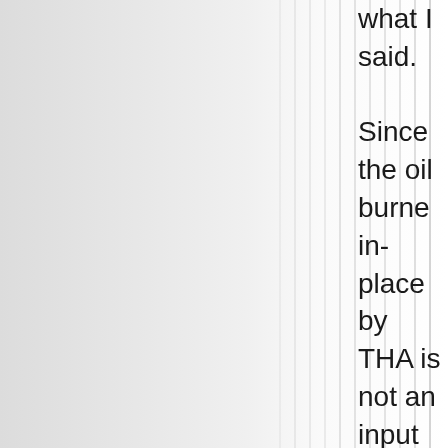[Figure (other): Page showing vertical ruled lines on a light gray background, with clipped text visible on the right edge]
what I said. Since the oil burned in-place by THA is not an input by the oil comp it's not part of the